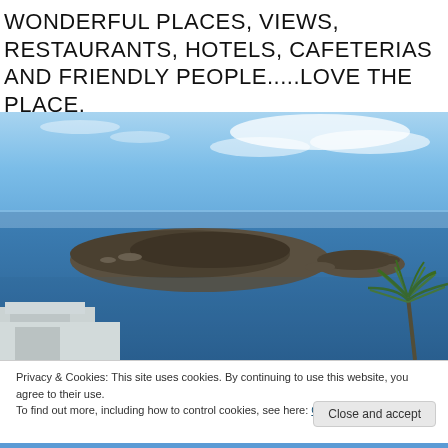WONDERFUL PLACES, VIEWS, RESTAURANTS, HOTELS, CAFETERIAS AND FRIENDLY PEOPLE.....LOVE THE PLACE.
[Figure (photo): Aerial or elevated view of a volcanic island (likely Santorini caldera) surrounded by deep blue sea, with white architecture in the foreground bottom left and a palm/yucca plant at right, under a bright blue sky with wispy clouds.]
Privacy & Cookies: This site uses cookies. By continuing to use this website, you agree to their use.
To find out more, including how to control cookies, see here: Cookie Policy
Close and accept